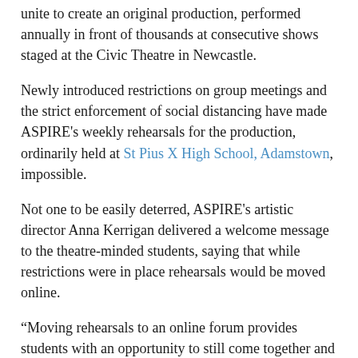unite to create an original production, performed annually in front of thousands at consecutive shows staged at the Civic Theatre in Newcastle.
Newly introduced restrictions on group meetings and the strict enforcement of social distancing have made ASPIRE's weekly rehearsals for the production, ordinarily held at St Pius X High School, Adamstown, impossible.
Not one to be easily deterred, ASPIRE's artistic director Anna Kerrigan delivered a welcome message to the theatre-minded students, saying that while restrictions were in place rehearsals would be moved online.
“Moving rehearsals to an online forum provides students with an opportunity to still come together and share their passions while learning from each other in a contemporary setting,” Ms Kerrigan said. “It also allows for some normality in their routines during this time of general upheaval, and importantly, gives them hope.”
Patrick Howlett, who is in Year 10 at St Mary’s Catholic College, Gateshead, has been an ASPIRE cast member for the